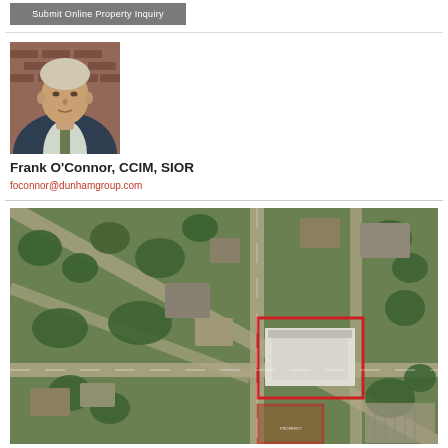Submit Online Property Inquiry
[Figure (photo): Headshot of Frank O'Connor in a suit with brick wall background]
Frank O'Connor, CCIM, SIOR
foconnor@dunhamgroup.com
[Figure (map): Aerial satellite map showing a property with red outline markers at a suburban intersection with buildings and trees]